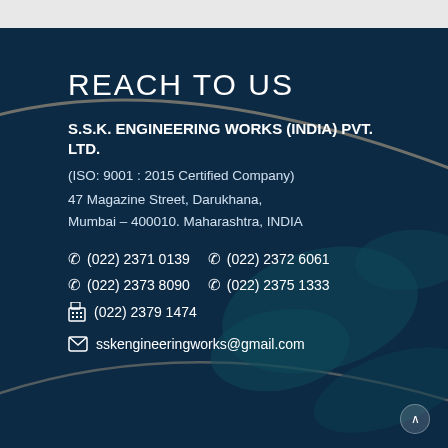REACH TO US
S.S.K. ENGINEERING WORKS (INDIA) PVT. LTD.
(ISO: 9001 : 2015 Certified Company)
47 Magazine Street, Darukhana,
Mumbai – 400010. Maharashtra, INDIA
☎ (022) 2371 0139  ☎ (022) 2372 6061
☎ (022) 2373 8090  ☎ (022) 2375 1333
🖷 (022) 2379 1474
✉ sskengineeringworks@gmail.com